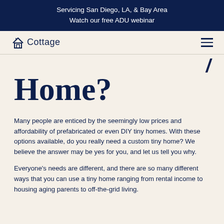Servicing San Diego, LA, & Bay Area
Watch our free ADU webinar
[Figure (logo): Cottage logo with house icon and text 'Cottage']
Home?
Many people are enticed by the seemingly low prices and affordability of prefabricated or even DIY tiny homes. With these options available, do you really need a custom tiny home? We believe the answer may be yes for you, and let us tell you why.
Everyone's needs are different, and there are so many different ways that you can use a tiny home ranging from rental income to housing aging parents to off-the-grid living.